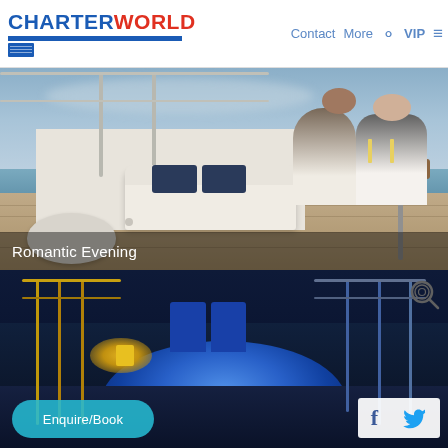CHARTERWORLD | Contact | More | VIP
[Figure (photo): Couple relaxing on luxury yacht deck with ocean view, white couch seating, wooden table, outdoor deck area. Caption overlay reads 'Romantic Evening'.]
Romantic Evening
[Figure (photo): Night-time luxury yacht deck with illuminated blue hot tub/jacuzzi, golden railings on the left, blue-lit deck furniture, search icon overlay in top-right.]
Enquire/Book
f  (Twitter bird icon)